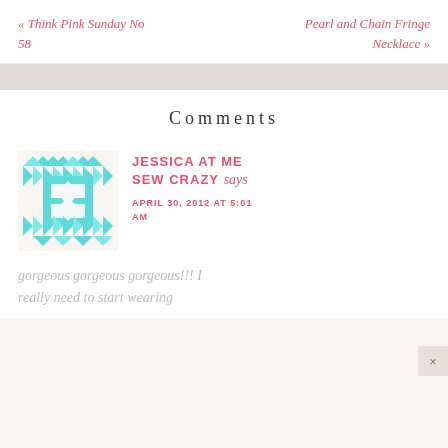« Think Pink Sunday No 58
Pearl and Chain Fringe Necklace »
Comments
[Figure (illustration): Teal/turquoise geometric snowflake avatar icon made of triangles and squares]
JESSICA AT ME SEW CRAZY says
APRIL 30, 2012 AT 5:01 AM
gorgeous gorgeous gorgeous!!! I really need to start wearing